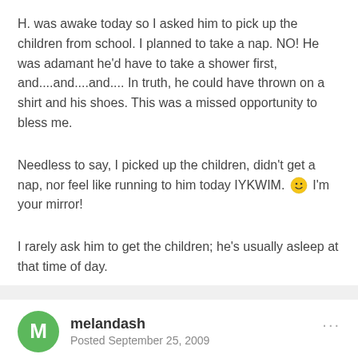H. was awake today so I asked him to pick up the children from school. I planned to take a nap. NO! He was adamant he'd have to take a shower first, and....and....and.... In truth, he could have thrown on a shirt and his shoes. This was a missed opportunity to bless me.
Needless to say, I picked up the children, didn't get a nap, nor feel like running to him today IYKWIM. 🙂 I'm your mirror!
I rarely ask him to get the children; he's usually asleep at that time of day.
melandash
Posted September 25, 2009
Oh dear, son-worshipper. I am listening to the call. His heart attitude is all about defending himself. And protecting himself